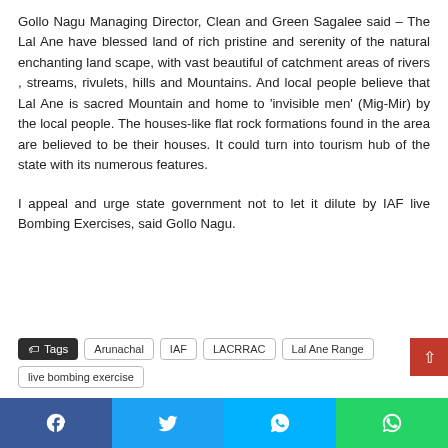Gollo Nagu Managing Director, Clean and Green Sagalee said – The Lal Ane have blessed land of rich pristine and serenity of the natural enchanting land scape, with vast beautiful of catchment areas of rivers , streams, rivulets, hills and Mountains. And local people believe that Lal Ane is sacred Mountain and home to 'invisible men' (Mig-Mir) by the local people. The houses-like flat rock formations found in the area are believed to be their houses. It could turn into tourism hub of the state with its numerous features.
I appeal and urge state government not to let it dilute by IAF live Bombing Exercises, said Gollo Nagu.
Tags: Arunachal | IAF | LACRRAC | Lal Ane Range | live bombing exercise